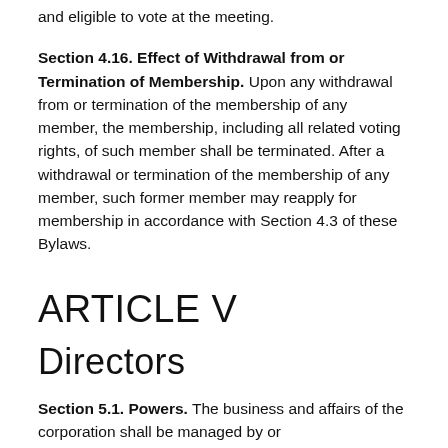and eligible to vote at the meeting.
Section 4.16. Effect of Withdrawal from or Termination of Membership. Upon any withdrawal from or termination of the membership of any member, the membership, including all related voting rights, of such member shall be terminated. After a withdrawal or termination of the membership of any member, such former member may reapply for membership in accordance with Section 4.3 of these Bylaws.
ARTICLE V
Directors
Section 5.1. Powers. The business and affairs of the corporation shall be managed by or